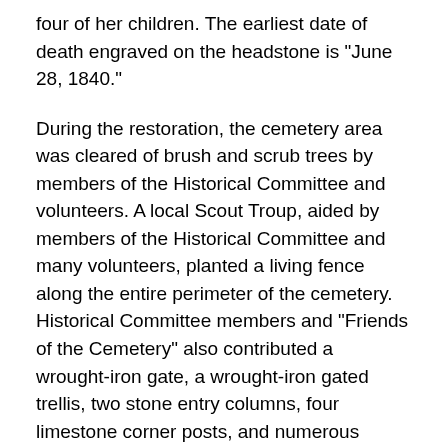four of her children.  The earliest date of death engraved on the headstone is "June 28, 1840."
During the restoration, the cemetery area was cleared of brush and scrub trees by members of the Historical Committee and volunteers.  A local Scout Troup, aided by members of the Historical Committee and many volunteers, planted a living fence along the entire perimeter of the cemetery.  Historical Committee members and "Friends of the Cemetery" also contributed a wrought-iron gate, a wrought-iron gated trellis, two stone entry columns, four limestone corner posts, and numerous flowering trees.  The cemetery was "dowsed" several times by a local cemetery historian/preservationist, and there are now believed to be 96 graves located within the cemetery; of which 36 were probably children.  As part of the restoration process, field stones were placed as markers at each of the graves.  On June 17, 2006, a dedication